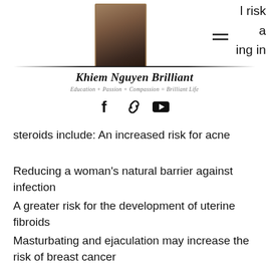Khiem Nguyen Brilliant — Education + Passion + Compassion = Brilliant Life
steroids include: An increased risk for acne
Reducing a woman's natural barrier against infection
A greater risk for the development of uterine fibroids
Masturbating and ejaculation may increase the risk of breast cancer
Increased risk of cancer of the reproductive organs like the ovary or